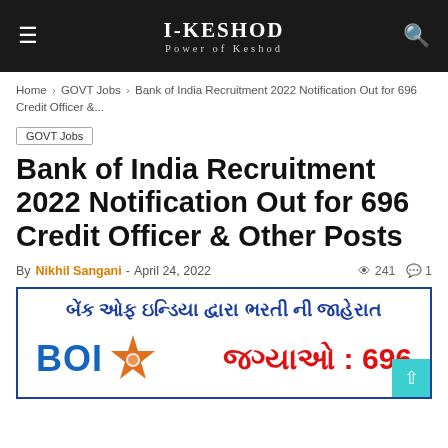I-KESHOD | Power of Keshod
Home › GOVT Jobs › Bank of India Recruitment 2022 Notification Out for 696 Credit Officer &...
GOVT Jobs
Bank of India Recruitment 2022 Notification Out for 696 Credit Officer & Other Posts
By Nikhil Sangani - April 24, 2022  241  1
[Figure (infographic): Bank of India recruitment advertisement in Gujarati. Top text reads 'બેંક ઓફ ઇન્ડિયા દ્વારા ભરતી ની જાહેરાત' (Bank of India Recruitment Announcement). Bottom shows BOI logo with orange star and text 'જગ્યાઓ : 696' (Vacancies: 696) in red.]